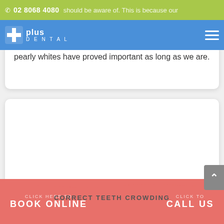02 8068 4080
[Figure (logo): Uplus Dental logo with cross icon, white text on blue background]
pearly whites have proved important as long as we are.
[Figure (other): White card placeholder area (image content not visible)]
CLICK HERE TO CORRECT TEETH CROWDING | BOOK ONLINE | CLICK TO CALL US